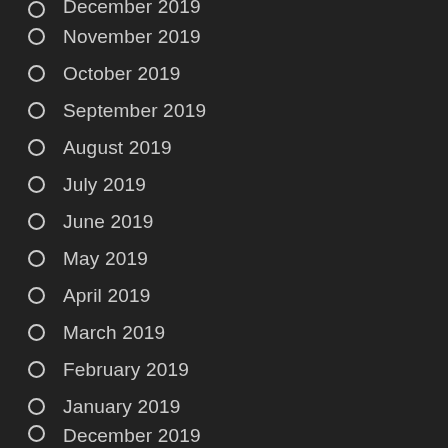December 2019 (partial top)
November 2019
October 2019
September 2019
August 2019
July 2019
June 2019
May 2019
April 2019
March 2019
February 2019
January 2019
December 2019 (partial bottom)